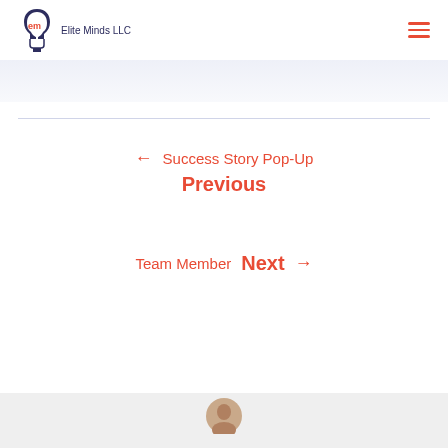Elite Minds LLC
← Success Story Pop-Up Previous
Team Member Next →